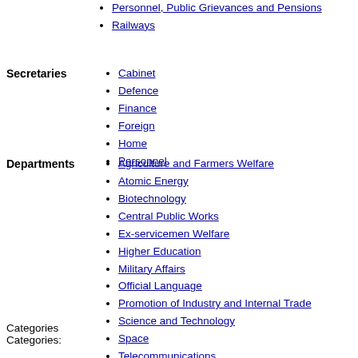Personnel, Public Grievances and Pensions
Railways
Secretaries
Cabinet
Defence
Finance
Foreign
Home
Personnel
Departments
Agriculture and Farmers Welfare
Atomic Energy
Biotechnology
Central Public Works
Ex-servicemen Welfare
Higher Education
Military Affairs
Official Language
Promotion of Industry and Internal Trade
Science and Technology
Space
Telecommunications
Categories
Categories: